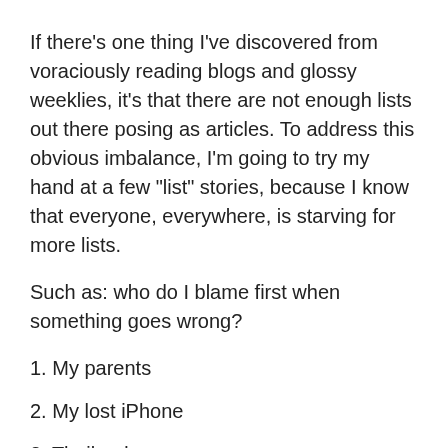If there’s one thing I’ve discovered from voraciously reading blogs and glossy weeklies, it’s that there are not enough lists out there posing as articles. To address this obvious imbalance, I’m going to try my hand at a few “list” stories, because I know that everyone, everywhere, is starving for more lists.
Such as: who do I blame first when something goes wrong?
1. My parents
2. My lost iPhone
3. Thailand
Or: What are my top three recurring nightmares?